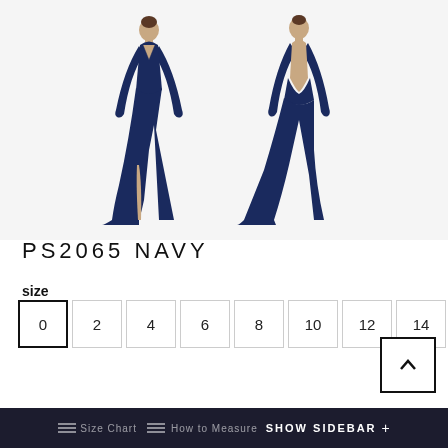[Figure (photo): Two views of a navy blue long gown (PS2065 NAVY): front view showing deep V-neck and thigh-high slit with train, and back view showing open back with long train.]
PS2065 NAVY
size
0  2  4  6  8  10  12  14  16 (size selector buttons, 0 selected)
Size Chart   How to Measure   SHOW SIDEBAR +